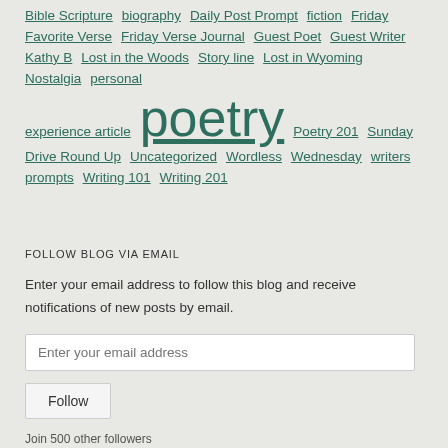Bible Scripture biography Daily Post Prompt fiction Friday Favorite Verse Friday Verse Journal Guest Poet Guest Writer Kathy B Lost in the Woods Story line Lost in Wyoming Nostalgia personal experience article poetry Poetry 201 Sunday Drive Round Up Uncategorized Wordless Wednesday writers prompts Writing 101 Writing 201
FOLLOW BLOG VIA EMAIL
Enter your email address to follow this blog and receive notifications of new posts by email.
Enter your email address
Follow
Join 500 other followers